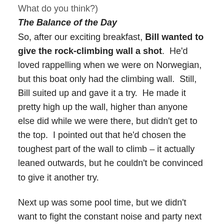What do you think?)
The Balance of the Day
So, after our exciting breakfast, Bill wanted to give the rock-climbing wall a shot.  He'd loved rappelling when we were on Norwegian, but this boat only had the climbing wall.  Still, Bill suited up and gave it a try.  He made it pretty high up the wall, higher than anyone else did while we were there, but didn't get to the top.  I pointed out that he'd chosen the toughest part of the wall to climb – it actually leaned outwards, but he couldn't be convinced to give it another try.
Next up was some pool time, but we didn't want to fight the constant noise and party next to the main pool.  Instead, we found our way to the Solarium pool and did a little relaxing.  I'm not a big swimmer, but I did